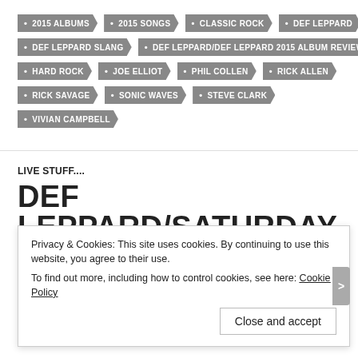2015 ALBUMS
2015 SONGS
CLASSIC ROCK
DEF LEPPARD
DEF LEPPARD SLANG
DEF LEPPARD/DEF LEPPARD 2015 ALBUM REVIEW
HARD ROCK
JOE ELLIOT
PHIL COLLEN
RICK ALLEN
RICK SAVAGE
SONIC WAVES
STEVE CLARK
VIVIAN CAMPBELL
LIVE STUFF....
DEF LEPPARD/SATURDAY
Privacy & Cookies: This site uses cookies. By continuing to use this website, you agree to their use. To find out more, including how to control cookies, see here: Cookie Policy
Close and accept